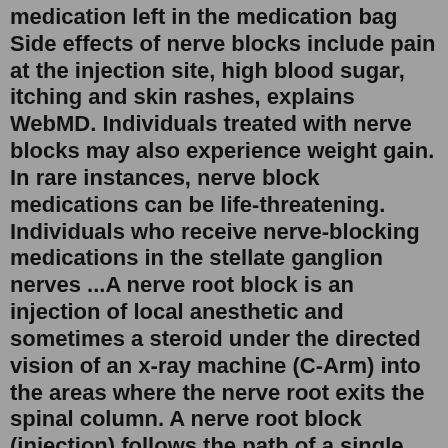medication left in the medication bag Side effects of nerve blocks include pain at the injection site, high blood sugar, itching and skin rashes, explains WebMD. Individuals treated with nerve blocks may also experience weight gain. In rare instances, nerve block medications can be life-threatening. Individuals who receive nerve-blocking medications in the stellate ganglion nerves ...A nerve root block is an injection of local anesthetic and sometimes a steroid under the directed vision of an x-ray machine (C-Arm) into the areas where the nerve root exits the spinal column. A nerve root block (injection) follows the path of a single nerve to block pain emitted into an arm, leg or back. A nerve root block may be used by your ...Aug 25, 2018 · I have cerebellum volume loss, multiple-system atrophy including the esophagus, vocal cords, legs, arms, stomach, bladder, polyneuritis and a host of other issues that were diagnosed after the occipital nerve blocks. In reply to @menville "@marinelastef I have had occipital nerve blocks and many nerve blocks in other areas. Peripheral nerve blocks: